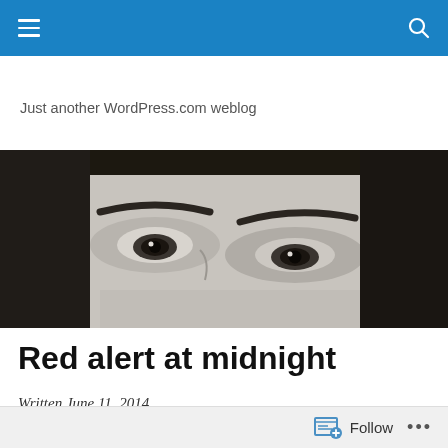Navigation bar with hamburger menu and search icon
Just another WordPress.com weblog
[Figure (photo): Close-up black and white photo of a person's eyes looking upward, with dark hair framing the face]
Red alert at midnight
Written June 11, 2014
Follow ...